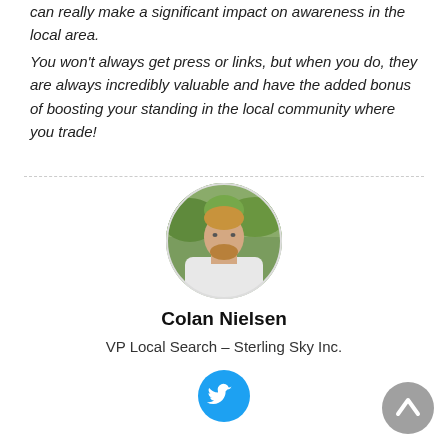can really make a significant impact on awareness in the local area.
You won't always get press or links, but when you do, they are always incredibly valuable and have the added bonus of boosting your standing in the local community where you trade!
[Figure (photo): Circular portrait photo of Colan Nielsen, a man with a beard wearing a white hoodie, standing in front of green foliage]
Colan Nielsen
VP Local Search – Sterling Sky Inc.
[Figure (logo): Twitter bird icon in a cyan/blue circle button]
[Figure (other): Back to top arrow icon in a grey circle button]